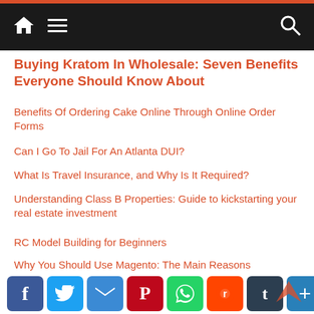Navigation bar with home, menu, and search icons
Buying Kratom In Wholesale: Seven Benefits Everyone Should Know About
Benefits Of Ordering Cake Online Through Online Order Forms
Can I Go To Jail For An Atlanta DUI?
What Is Travel Insurance, and Why Is It Required?
Understanding Class B Properties: Guide to kickstarting your real estate investment
RC Model Building for Beginners
Why You Should Use Magento: The Main Reasons
Categories
Social share buttons: Facebook, Twitter, Email, Pinterest, WhatsApp, Reddit, Tumblr, Share